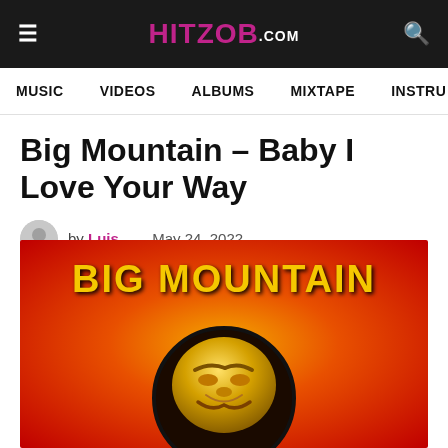HITZOB.COM
MUSIC   VIDEOS   ALBUMS   MIXTAPE   INSTRU
Big Mountain – Baby I Love Your Way
by Luis — May 24, 2022
[Figure (illustration): Album art for Big Mountain – Baby I Love Your Way. Orange-red gradient background with large yellow bold text 'BIG MOUNTAIN' at top and a golden sculptural face/sun figure in a dark circle below.]